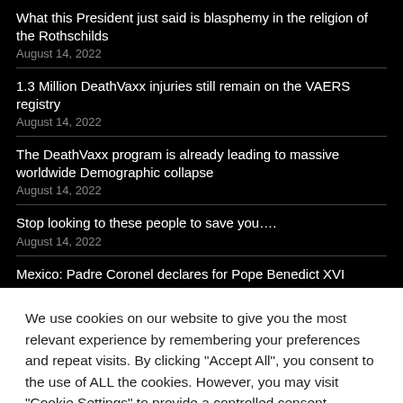What this President just said is blasphemy in the religion of the Rothschilds
August 14, 2022
1.3 Million DeathVaxx injuries still remain on the VAERS registry
August 14, 2022
The DeathVaxx program is already leading to massive worldwide Demographic collapse
August 14, 2022
Stop looking to these people to save you....
August 14, 2022
Mexico: Padre Coronel declares for Pope Benedict XVI
We use cookies on our website to give you the most relevant experience by remembering your preferences and repeat visits. By clicking "Accept All", you consent to the use of ALL the cookies. However, you may visit "Cookie Settings" to provide a controlled consent.